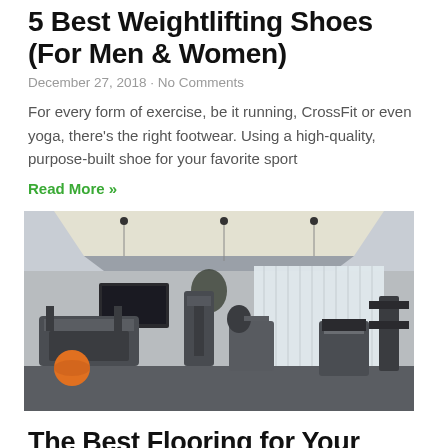5 Best Weightlifting Shoes (For Men & Women)
December 27, 2018 · No Comments
For every form of exercise, be it running, CrossFit or even yoga, there's the right footwear. Using a high-quality, purpose-built shoe for your favorite sport
Read More »
[Figure (photo): Interior of a modern home gym with treadmill, cable machine, exercise bike, weight bench, and barbell station. Orange medicine ball on the floor. Recessed ceiling lights and sheer white curtains by a window. Dark flooring.]
The Best Flooring for Your Home